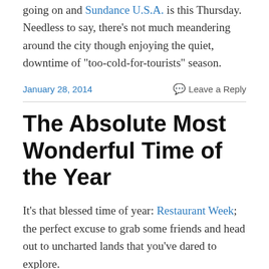going on and Sundance U.S.A. is this Thursday. Needless to say, there’s not much meandering around the city though enjoying the quiet, downtime of “too-cold-for-tourists” season.
January 28, 2014    Leave a Reply
The Absolute Most Wonderful Time of the Year
It’s that blessed time of year: Restaurant Week; the perfect excuse to grab some friends and head out to uncharted lands that you’ve dared to explore.
Especially in the winter, you can find yourself stuck in a rut for our dining habits. Mainly because it’s close, it’s